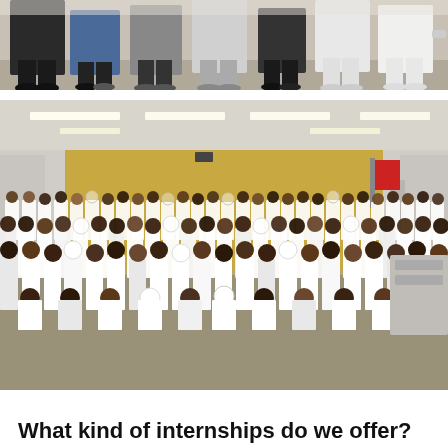[Figure (photo): Group of people standing together, partial view showing lower bodies and feet, cropped photo at top of page]
[Figure (photo): Large group photo of many young people wearing matching white t-shirts, gathered in a large room with wood-paneled walls and fluorescent lighting, likely an internship program group photo]
What kind of internships do we offer?